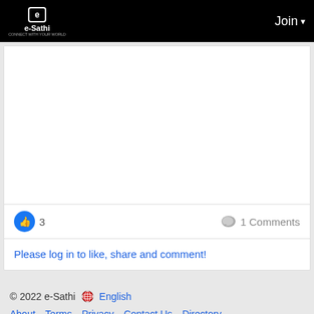e-Sathi  Join
[Figure (screenshot): White content area (blank post body)]
3   1 Comments
Please log in to like, share and comment!
© 2022 e-Sathi   English   About   Terms   Privacy   Contact Us   Directory